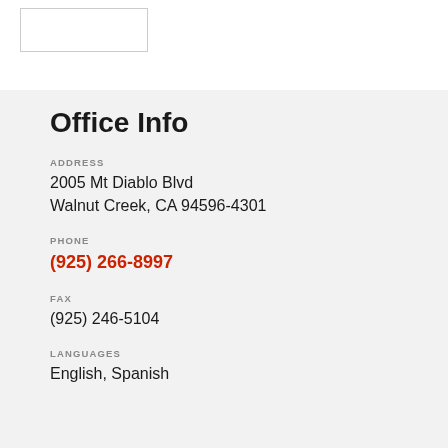[Figure (other): White rectangle image box with border, likely a logo or photo placeholder]
Office Info
ADDRESS
2005 Mt Diablo Blvd
Walnut Creek, CA 94596-4301
PHONE
(925) 266-8997
FAX
(925) 246-5104
LANGUAGES
English, Spanish